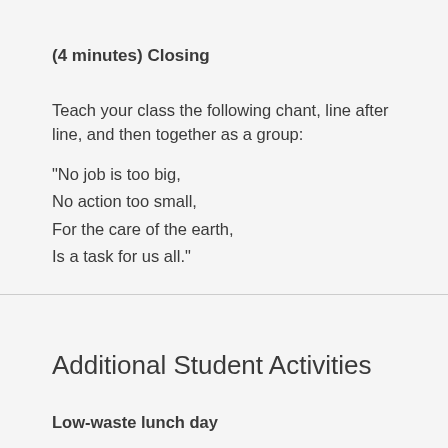(4 minutes) Closing
Teach your class the following chant, line after line, and then together as a group:
"No job is too big,
No action too small,
For the care of the earth,
Is a task for us all."
Additional Student Activities
Low-waste lunch day
Ask your students to first do what the band did in the Gorilla in the Greenhouse clip: Before they took action, they tried to get a better